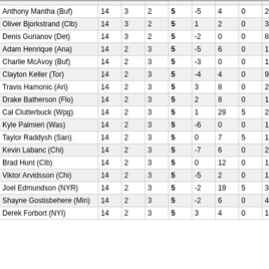| Player | GP | G | A | PTS | +/- | PIM | PP | SOG | Shots |  |
| --- | --- | --- | --- | --- | --- | --- | --- | --- | --- | --- |
| Anthony Mantha (Buf) | 14 | 3 | 2 | 5 | -5 | 4 | 0 | 2 | 31 | 9 |
| Oliver Bjorkstrand (Clb) | 14 | 3 | 2 | 5 | 1 | 2 | 0 | 3 | 19 | 1 |
| Denis Gurianov (Det) | 14 | 3 | 2 | 5 | -2 | 0 | 0 | 8 | 22 | 1 |
| Adam Henrique (Ana) | 14 | 2 | 3 | 5 | -5 | 6 | 0 | 12 | 28 | 7 |
| Charlie McAvoy (Buf) | 14 | 2 | 3 | 5 | -3 | 0 | 0 | 11 | 27 | 7 |
| Clayton Keller (Tor) | 14 | 2 | 3 | 5 | -4 | 4 | 0 | 9 | 33 | 6 |
| Travis Hamonic (Ari) | 14 | 2 | 3 | 5 | 3 | 8 | 0 | 25 | 7 | 2 |
| Drake Batherson (Flo) | 14 | 2 | 3 | 5 | 2 | 8 | 0 | 14 | 31 | 6 |
| Cal Clutterbuck (Wpg) | 14 | 2 | 3 | 5 | 1 | 29 | 5 | 25 | 18 | 1 |
| Kyle Palmieri (Was) | 14 | 2 | 3 | 5 | -6 | 0 | 0 | 10 | 17 | 1 |
| Taylor Raddysh (San) | 14 | 2 | 3 | 5 | 0 | 7 | 5 | 12 | 19 | 1 |
| Kevin Labanc (Chi) | 14 | 2 | 3 | 5 | -7 | 6 | 0 | 26 | 33 | 6 |
| Brad Hunt (Clb) | 14 | 2 | 3 | 5 | 0 | 12 | 0 | 17 | 8 | 2 |
| Viktor Arvidsson (Chi) | 14 | 2 | 3 | 5 | -5 | 2 | 0 | 12 | 31 | 6 |
| Joel Edmundson (NYR) | 14 | 2 | 3 | 5 | -2 | 19 | 5 | 30 | 18 | 1 |
| Shayne Gostisbehere (Min) | 14 | 2 | 3 | 5 | -2 | 6 | 0 | 4 | 23 | 8 |
| Derek Forbort (NYI) | 14 | 2 | 3 | 5 | 3 | 4 | 0 | 12 | 13 | 1 |